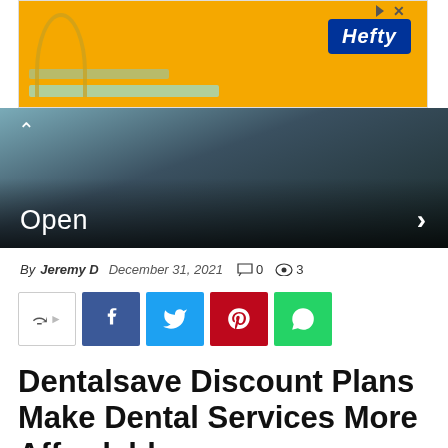[Figure (illustration): Orange Hefty advertisement banner with logo]
[Figure (photo): Dark dental/medical themed hero image with 'Open' label and navigation arrows]
By Jeremy D  December 31, 2021  0  3
[Figure (infographic): Social share buttons: generic share, Facebook, Twitter, Pinterest, WhatsApp]
Dentalsave Discount Plans Make Dental Services More Affordable
[Figure (photo): Dental office interior photo at bottom of page]